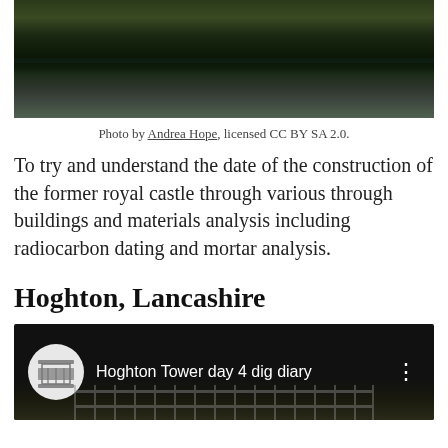[Figure (photo): Landscape photo showing a dark river or lake with dense trees and foliage reflected in the water, taken in natural daylight]
Photo by Andrea Hope, licensed CC BY SA 2.0.
To try and understand the date of the construction of the former royal castle through various through buildings and materials analysis including radiocarbon dating and mortar analysis.
Hoghton, Lancashire
[Figure (screenshot): YouTube video thumbnail showing 'Hoghton Tower day 4 dig diary' with a circular channel logo on the left, white text title, three-dot menu icon on right, and a scene with a person in a hat and metal fencing below]